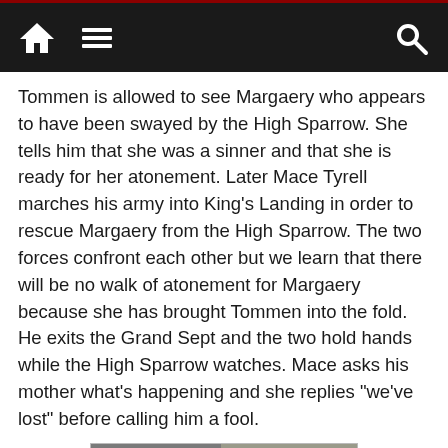Navigation bar with home, menu, and search icons
Tommen is allowed to see Margaery who appears to have been swayed by the High Sparrow. She tells him that she was a sinner and that she is ready for her atonement. Later Mace Tyrell marches his army into King’s Landing in order to rescue Margaery from the High Sparrow. The two forces confront each other but we learn that there will be no walk of atonement for Margaery because she has brought Tommen into the fold. He exits the Grand Sept and the two hold hands while the High Sparrow watches. Mace asks his mother what’s happening and she replies “we’ve lost” before calling him a fool.
[Figure (photo): Scene from Game of Thrones showing an elderly man (High Sparrow) standing in front of a large seven-pointed star symbol carved in stone, with followers visible in the background at what appears to be the Grand Sept of Baelor.]